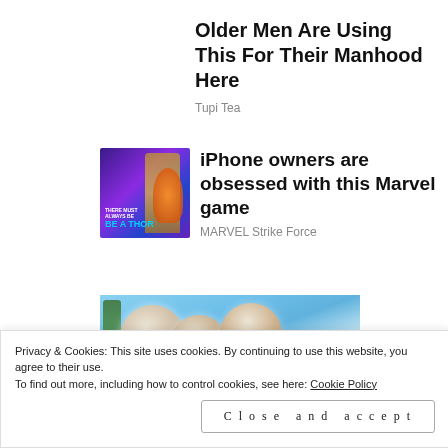Older Men Are Using This For Their Manhood Here
Tupi Tea
[Figure (photo): Marvel game advertisement thumbnail showing a Thor-like character with text 'THERE MUST ALWAYS BE A THOR' against a purple/blue cosmic background]
iPhone owners are obsessed with this Marvel game
MARVEL Strike Force
[Figure (photo): Close-up of frozen round food items (possibly peaches or similar) with frost on them against a light blue background, with a green bottle on the left side]
Privacy & Cookies: This site uses cookies. By continuing to use this website, you agree to their use.
To find out more, including how to control cookies, see here: Cookie Policy
Close and accept